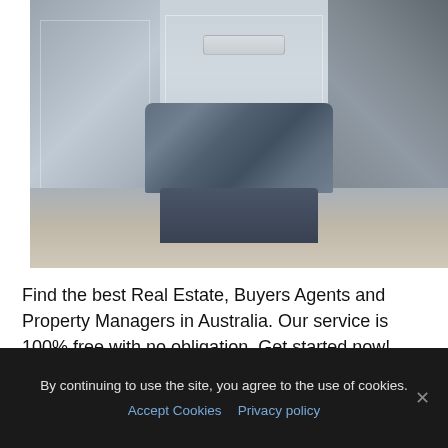[Figure (photo): Interior bedroom photo showing a modern minimalist bedroom with grey paneled walls, LED ceiling lights, a dark blue/grey low platform bed with matching bedding and reading lamps, grey carpet floor, and a TV on the right side.]
Find the best Real Estate, Buyers Agents and Property Managers in Australia. Our service is 100% free with no obligation. Get started now!
By continuing to use the site, you agree to the use of cookies.
Accept Cookies  Privacy policy